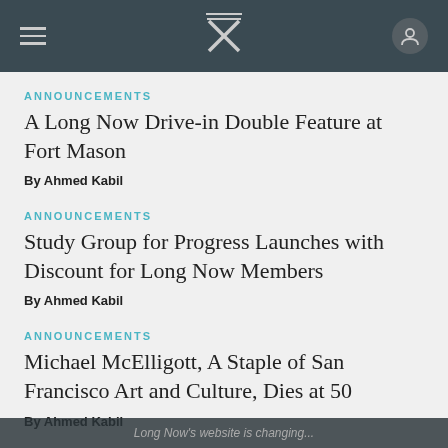Navigation bar with hamburger menu, Long Now X logo, and user icon
ANNOUNCEMENTS
A Long Now Drive-in Double Feature at Fort Mason
By Ahmed Kabil
ANNOUNCEMENTS
Study Group for Progress Launches with Discount for Long Now Members
By Ahmed Kabil
ANNOUNCEMENTS
Michael McElligott, A Staple of San Francisco Art and Culture, Dies at 50
By Ahmed Kabil
Long Now's website is changing...